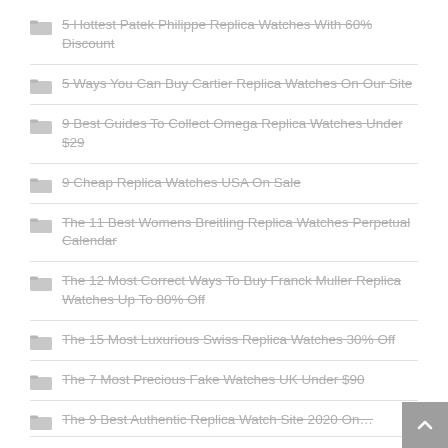5 Hottest Patek Philippe Replica Watches With 60% Discount
5 Ways You Can Buy Cartier Replica Watches On Our Site
9 Best Guides To Collect Omega Replica Watches Under $29
9 Cheap Replica Watches USA On Sale
The 11 Best Womens Breitling Replica Watches Perpetual Calendar
The 12 Most Correct Ways To Buy Franck Muller Replica Watches Up To 80% Off
The 15 Most Luxurious Swiss Replica Watches 30% Off
The 7 Most Precious Fake Watches UK Under $90
The 9 Best Authentic Replica Watch Site 2020 On…